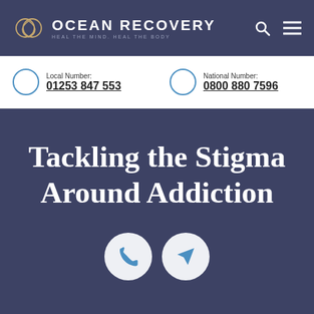[Figure (logo): Ocean Recovery logo with intertwined heart/circle icon, text 'OCEAN RECOVERY' and tagline 'HEAL THE MIND. HEAL THE BODY', navigation search and menu icons on right]
Local Number:
01253 847 553
National Number:
0800 880 7596
Tackling the Stigma Around Addiction
[Figure (infographic): Two circular buttons: a phone icon and a paper plane/send icon]